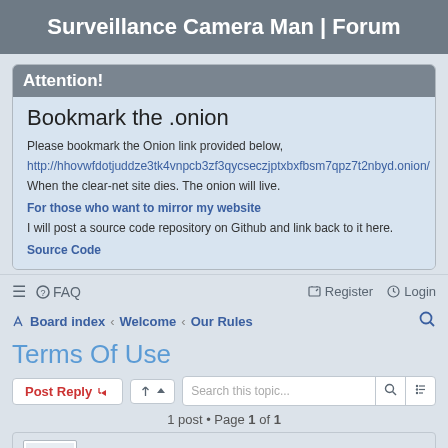Surveillance Camera Man | Forum
Attention!
Bookmark the .onion
Please bookmark the Onion link provided below,
http://hhovwfdotjuddze3tk4vnpcb3zf3qycseczjptxbxfbsm7qpz7t2nbyd.onion/
When the clear-net site dies. The onion will live.
For those who want to mirror my website
I will post a source code repository on Github and link back to it here.
Source Code
≡   ? FAQ    Register   Login
Board index · Welcome · Our Rules
Terms Of Use
Post Reply   [tools]   Search this topic...
1 post • Page 1 of 1
SCMdotcomAdmin
Administrator